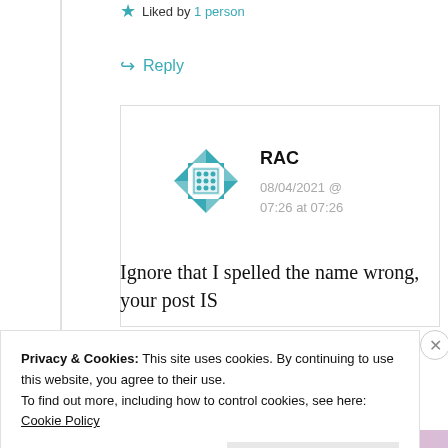★ Liked by 1 person
↪ Reply
RAC
08/04/2021 @ 07:26 at 07:26
Ignore that I spelled the name wrong, your post IS
Privacy & Cookies: This site uses cookies. By continuing to use this website, you agree to their use.
To find out more, including how to control cookies, see here: Cookie Policy
Close and accept